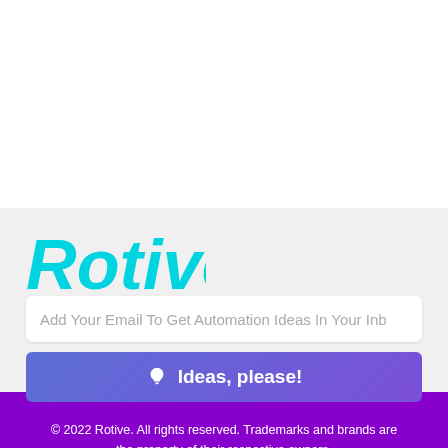[Figure (logo): Rotive logo in cyan/turquoise cursive script on light gray background]
Add Your Email To Get Automation Ideas In Your Inb
💡 Ideas, please!
© 2022 Rotive. All rights reserved. Trademarks and brands are the property of their respective owners.
hey@rotive.io  602.935.0090